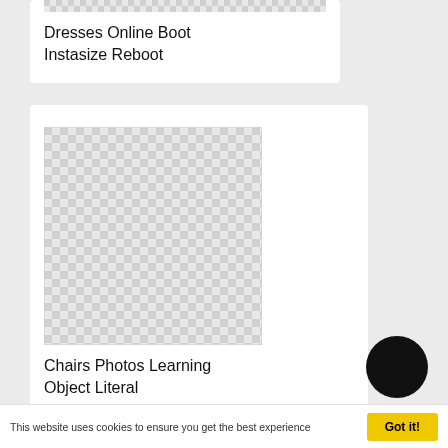[Figure (other): Checkerboard transparent placeholder image (top card, partial view)]
Dresses Online Boot Instasize Reboot
[Figure (other): Checkerboard transparent placeholder image (mid card)]
Chairs Photos Learning Object Literal
This website uses cookies to ensure you get the best experience
Got it!